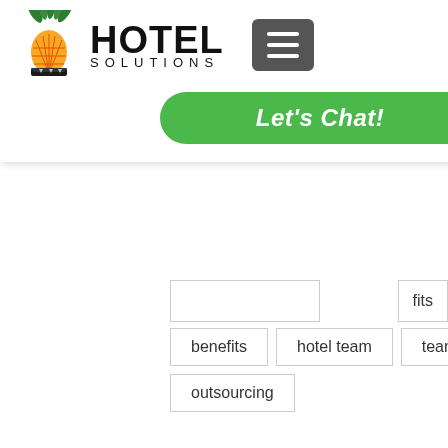[Figure (logo): Hotel Solutions logo with pineapple icon and hamburger menu button, plus green Let's Chat! button]
itely
fits
benefits
hotel team
team
outsourcing
Hotel Team Development
[Figure (infographic): Social share icons: Facebook, Twitter, LinkedIn, link]
[Figure (infographic): Carousel dots: three dots, middle one active/dark]